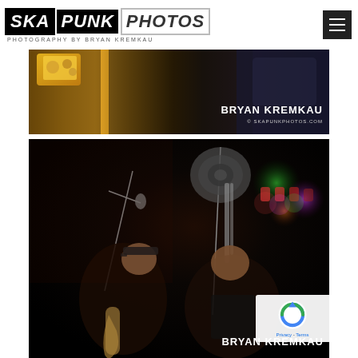SKA PUNK PHOTOS — PHOTOGRAPHY BY BRYAN KREMKAU
[Figure (photo): Close-up dark concert photo showing brass instrument (trombone detail) with yellow graphic in background. Watermark reads BRYAN KREMKAU © SKAPUNKPHOTOS.COM]
[Figure (photo): Concert stage photo of two musicians playing brass instruments (saxophone and trombone) in dark venue with stage lighting. Watermark reads BRYAN KREMKAU]